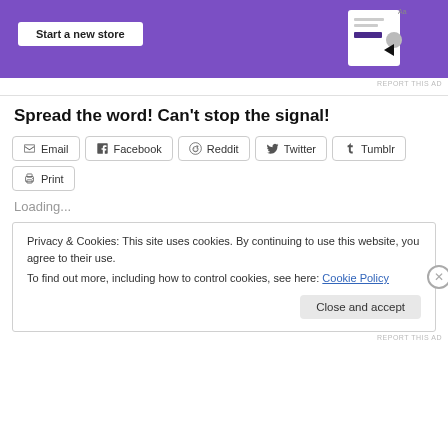[Figure (screenshot): Purple advertisement banner with 'Start a new store' button and UI mockup elements on the right side]
REPORT THIS AD
Spread the word! Can't stop the signal!
[Figure (infographic): Share buttons row: Email, Facebook, Reddit, Twitter, Tumblr, Print]
Loading...
Privacy & Cookies: This site uses cookies. By continuing to use this website, you agree to their use.
To find out more, including how to control cookies, see here: Cookie Policy
Close and accept
REPORT THIS AD